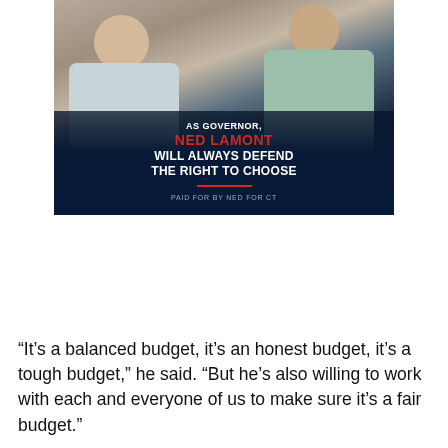[Figure (photo): Campaign advertisement image showing two people (a man in a light blue shirt and a woman in a mint green top) seated and talking, with a dark blue overlay at the bottom containing text: 'AS GOVERNOR, NED LAMONT WILL ALWAYS DEFEND THE RIGHT TO CHOOSE' and 'PAID FOR BY NED FOR CT']
“It’s a balanced budget, it’s an honest budget, it’s a tough budget,” he said. “But he’s also willing to work with each and everyone of us to make sure it’s a fair budget.”